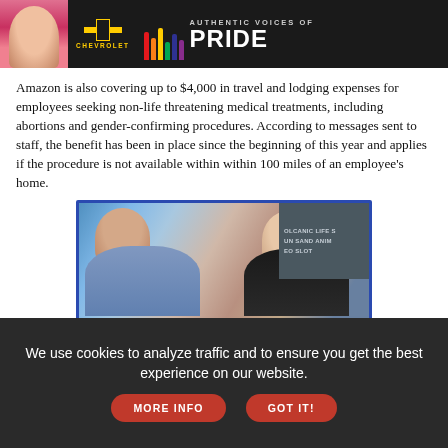[Figure (photo): Chevrolet Authentic Voices of Pride advertisement banner with a woman and rainbow-colored bars on dark background]
Amazon is also covering up to $4,000 in travel and lodging expenses for employees seeking non-life threatening medical treatments, including abortions and gender-confirming procedures. According to messages sent to staff, the benefit has been in place since the beginning of this year and applies if the procedure is not available within within 100 miles of an employee's home.
[Figure (photo): Photo of two people smiling at each other with colorful mural background, overlaid with 'EXPLORE BUFFALO -' text in orange and rainbow colors on white bar, within a blue-bordered frame]
We use cookies to analyze traffic and to ensure you get the best experience on our website.